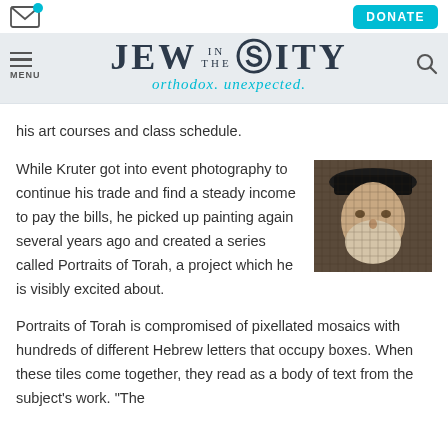JEW IN THE CITY — orthodox. unexpected. [with MENU and DONATE navigation]
his art courses and class schedule.
While Kruter got into event photography to continue his trade and find a steady income to pay the bills, he picked up painting again several years ago and created a series called Portraits of Torah, a project which he is visibly excited about.
[Figure (photo): Pixellated mosaic portrait of a rabbi wearing a wide-brimmed black hat, made up of Hebrew letters]
Portraits of Torah is compromised of pixellated mosaics with hundreds of different Hebrew letters that occupy boxes. When these tiles come together, they read as a body of text from the subject's work. "The